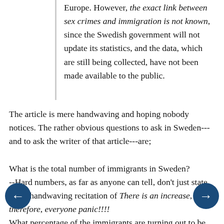Europe. However, the exact link between sex crimes and immigration is not known, since the Swedish government will not update its statistics, and the data, which are still being collected, have not been made available to the public.
The article is mere handwaving and hoping nobody notices. The rather obvious questions to ask in Sweden---and to ask the writer of that article---are;

What is the total number of immigrants in Sweden?
--Hard numbers, as far as anyone can tell, don't just state some handwaving recitation of There is an increase, therefore, everyone panic!!!!
What percentage of the immigrants are turning out to be criminal?
What is the total number of native Swedes?
By comparison, what percentage of the Swedes are turning out to be criminal?